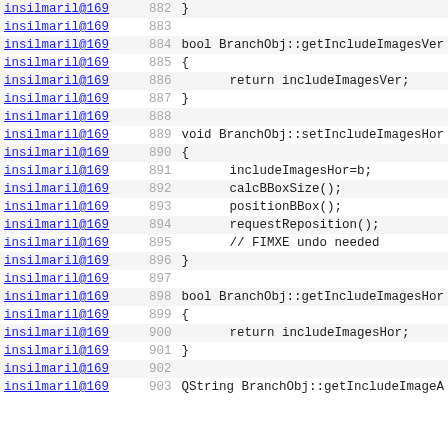[Figure (screenshot): Source code viewer showing C++ code for BranchObj class methods, lines 882-903, with author attribution (insilmaril@169) and line numbers in a code browser interface.]